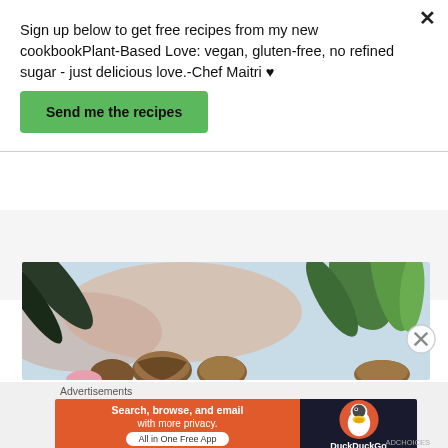Sign up below to get free recipes from my new cookbookPlant-Based Love: vegan, gluten-free, no refined sugar - just delicious love.-Chef Maitri ♥
Send me the recipes
[Figure (photo): Blurred close-up photo of food items including green leaves/herbs and what appears to be walnuts or similar nuts, with a light blue sky background.]
Advertisements
[Figure (screenshot): DuckDuckGo advertisement banner: orange left section with text 'Search, browse, and email with more privacy. All in One Free App', dark right section showing DuckDuckGo duck logo.]